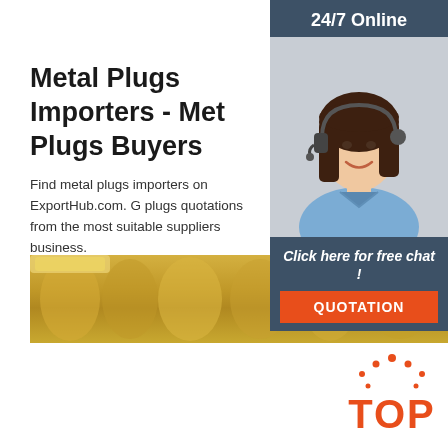Metal Plugs Importers - Metal Plugs Buyers
Find metal plugs importers on ExportHub.com. G plugs quotations from the most suitable suppliers business.
[Figure (other): Green Get Price button]
[Figure (other): Side banner with woman wearing headset, 24/7 Online header, Click here for free chat text, and orange QUOTATION button]
[Figure (photo): Bottom strip showing metal plugs or wooden cylindrical objects in yellow/golden tones]
[Figure (logo): TOP logo in orange and red at bottom right]